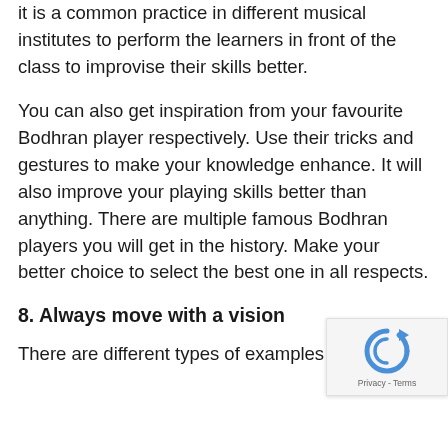it is a common practice in different musical institutes to perform the learners in front of the class to improvise their skills better.
You can also get inspiration from your favourite Bodhran player respectively. Use their tricks and gestures to make your knowledge enhance. It will also improve your playing skills better than anything. There are multiple famous Bodhran players you will get in the history. Make your better choice to select the best one in all respects.
8. Always move with a vision
There are different types of examples in